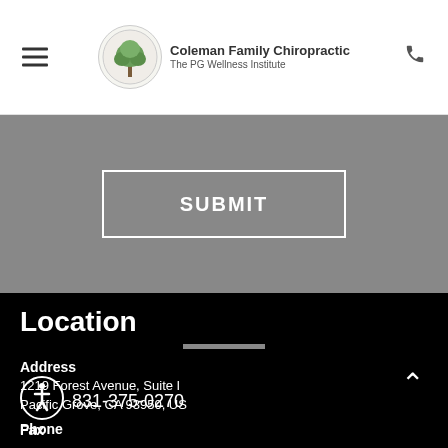Coleman Family Chiropractic The PG Wellness Institute
[Figure (screenshot): Submit button on a textured gray background with white border]
Location
Address
1219 Forest Avenue, Suite I
Pacific Grove, CA 93950, US
Phone
831-375-0270
Fax